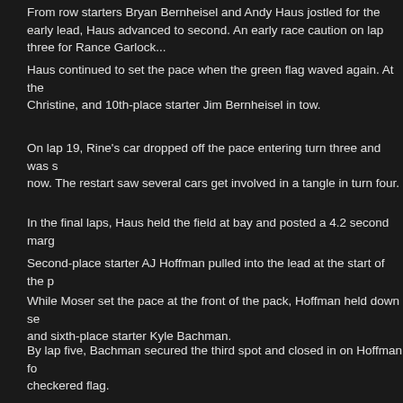From row starters Bryan Bernheisel and Andy Haus jostled for the early lead, Haus advanced to second. An early race caution on lap three for Rance Garlock...
Haus continued to set the pace when the green flag waved again. At the... Christine, and 10th-place starter Jim Bernheisel in tow.
On lap 19, Rine's car dropped off the pace entering turn three and was s... now. The restart saw several cars get involved in a tangle in turn four.
In the final laps, Haus held the field at bay and posted a 4.2 second marg...
Second-place starter AJ Hoffman pulled into the lead at the start of the p...
While Moser set the pace at the front of the pack, Hoffman held down se... and sixth-place starter Kyle Bachman.
By lap five, Bachman secured the third spot and closed in on Hoffman fo... checkered flag.
Moser was victorious by just .90 of a second over Bachman, Hoffman, La...
Fourth-place starter Will Brunson led the first lap of the roadrunner race w... Bussey for the lead. On lap four, Bussey took the lead while Brunson hel...
Zook took over the runner up position on lap nine and quickly closed in o... During off the from for the lead and from Zook on the left...